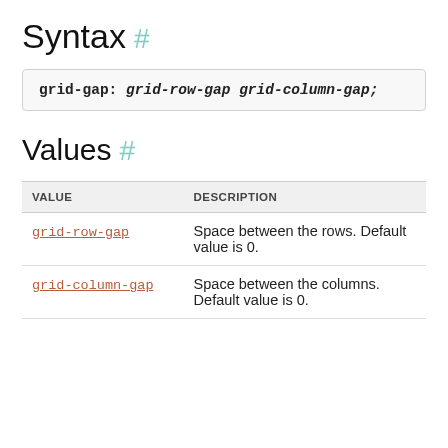Syntax #
Values #
| VALUE | DESCRIPTION |
| --- | --- |
| grid-row-gap | Space between the rows. Default value is 0. |
| grid-column-gap | Space between the columns. Default value is 0. |